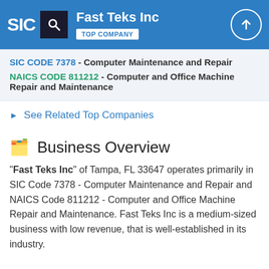SIC — Fast Teks Inc — TOP COMPANY
SIC CODE 7378 - Computer Maintenance and Repair
NAICS CODE 811212 - Computer and Office Machine Repair and Maintenance
See Related Top Companies
Business Overview
"Fast Teks Inc" of Tampa, FL 33647 operates primarily in SIC Code 7378 - Computer Maintenance and Repair and NAICS Code 811212 - Computer and Office Machine Repair and Maintenance. Fast Teks Inc is a medium-sized business with low revenue, that is well-established in its industry.